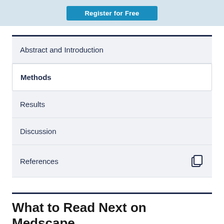[Figure (other): Register for Free button on light blue banner]
Abstract and Introduction
Methods
Results
Discussion
References
What to Read Next on Medscape